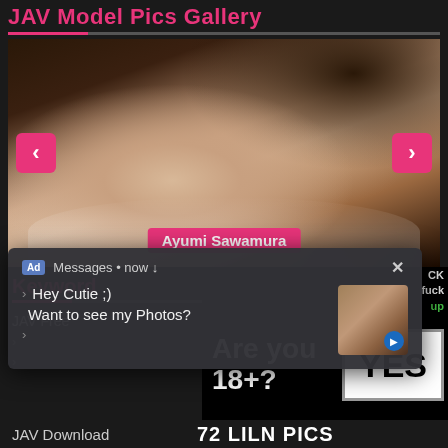JAV Model Pics Gallery
[Figure (photo): Adult content photo of Ayumi Sawamura with navigation arrows and name tag overlay]
Keyword
JAV Free
[Figure (infographic): Age gate ad: Are you 18+? YES button]
[Figure (infographic): Popup ad overlay: Ad badge, Messages now, Hey Cutie ;) Want to see my Photos? with thumbnail and close button]
JAV Download